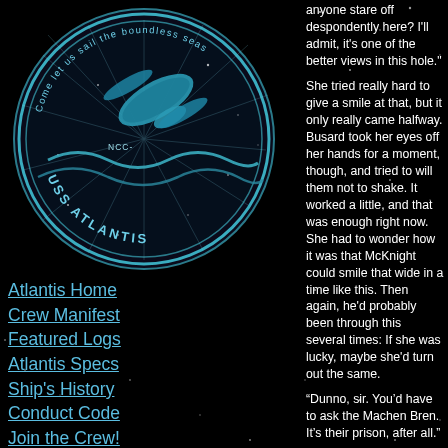[Figure (logo): USS Atlantis circular logo with starship and wave imagery, teal/cyan on dark background, text reading 'Come let us sail the boundless seas' and 'NCC-... USS ATLANTIS']
Atlantis Home
Crew Manifest
Featured Logs
Atlantis Specs
Ship's History
Conduct Code
Join the Crew!
[Figure (logo): Starfleet delta/arrowhead badge in gold/yellow on black background]
Atlantis Wiki
Sim Chatlogs
Site Archives
Site Admin
anyone stare off despondently here? I'll admit, it's one of the better views in this hole."
She tried really hard to give a smile at that, but it only really came halfway. Busard took her eyes off her hands for a moment, though, and tried to will them not to shake. It worked a little, and that was enough right now. She had to wonder how it was that McKnight could smile that wide in a time like this. Then again, he'd probably been through this several times: If she was lucky, maybe she'd turn out the same.
“Dunno, sir. You’d have to ask the Machen Bren. It’s their prison, after all.”
“Yeah…won’t lie, I’ve seen nicer. Still, I like what they’ve done with the place. Honest to God stonemasonry? That’s retro done right. Can’t really fault it on function…